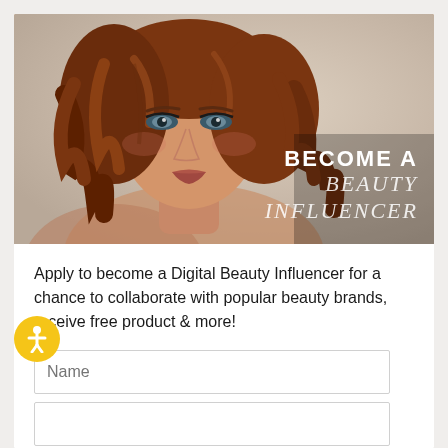[Figure (photo): A woman with auburn wavy hair posing against a light beige background, promoting a beauty influencer program. Text overlay reads 'BECOME A BEAUTY INFLUENCER'.]
Apply to become a Digital Beauty Influencer for a chance to collaborate with popular beauty brands, receive free product & more!